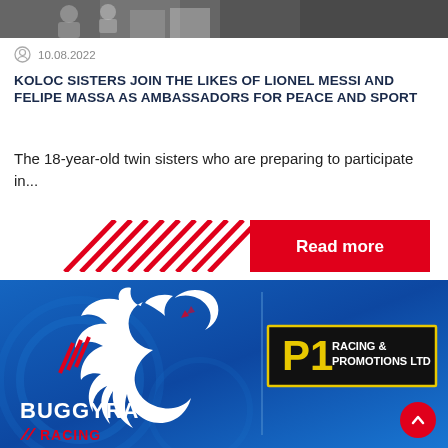[Figure (photo): Top strip of a photo showing people, partially cropped]
10.08.2022
KOLOC SISTERS JOIN THE LIKES OF LIONEL MESSI AND FELIPE MASSA AS AMBASSADORS FOR PEACE AND SPORT
The 18-year-old twin sisters who are preparing to participate in...
[Figure (infographic): Read more button with red diagonal stripes and red button labeled Read more]
[Figure (logo): Buggyra ZM Racing logo with lion silhouette on blue background, alongside P1 Racing & Promotions Ltd box]